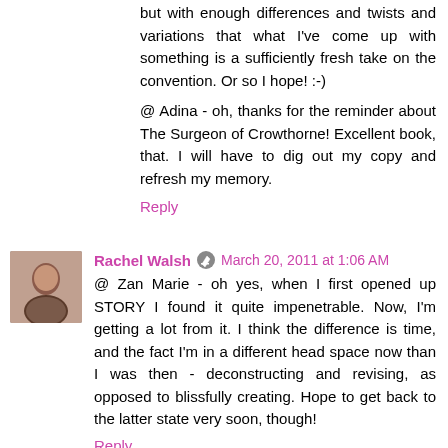but with enough differences and twists and variations that what I've come up with something is a sufficiently fresh take on the convention. Or so I hope! :-)
@ Adina - oh, thanks for the reminder about The Surgeon of Crowthorne! Excellent book, that. I will have to dig out my copy and refresh my memory.
Reply
Rachel Walsh   March 20, 2011 at 1:06 AM
@ Zan Marie - oh yes, when I first opened up STORY I found it quite impenetrable. Now, I'm getting a lot from it. I think the difference is time, and the fact I'm in a different head space now than I was then - deconstructing and revising, as opposed to blissfully creating. Hope to get back to the latter state very soon, though!
Reply
Rachel Walsh   March 20, 2011 at 1:08 AM